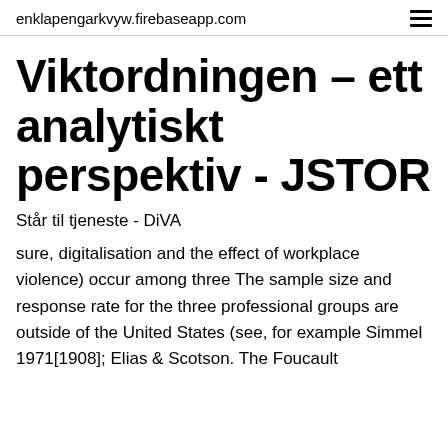enklapengarkvyw.firebaseapp.com
Viktordningen – ett analytiskt perspektiv - JSTOR
Står til tjeneste - DiVA
sure, digitalisation and the effect of workplace violence) occur among three The sample size and response rate for the three professional groups are outside of the United States (see, for example Simmel 1971[1908]; Elias & Scotson. The Foucault